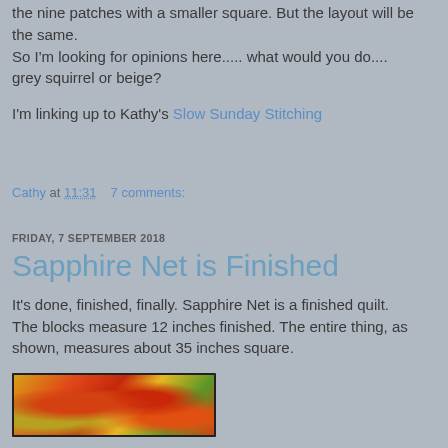the nine patches with a smaller square. But the layout will be the same.
So I'm looking for opinions here..... what would you do.... grey squirrel or beige?
I'm linking up to Kathy's Slow Sunday Stitching
Cathy at 11:31   7 comments:
FRIDAY, 7 SEPTEMBER 2018
Sapphire Net is Finished
It's done, finished, finally. Sapphire Net is a finished quilt. The blocks measure 12 inches finished. The entire thing, as shown, measures about 35 inches square.
[Figure (photo): Partial view of a quilt with colorful floral fabric featuring red, orange, and yellow roses on a bright background with dark border frame.]